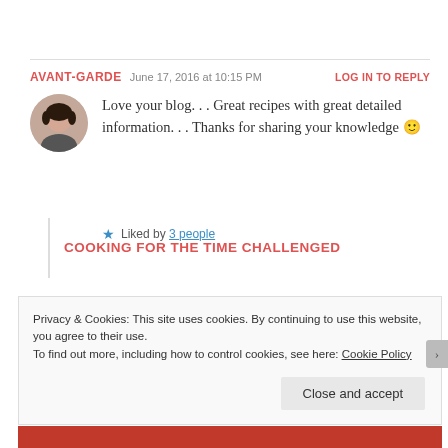AVANT-GARDE   June 17, 2016 at 10:15 PM   LOG IN TO REPLY
[Figure (photo): Circular avatar photo of a woman with dark hair]
Love your blog. . . Great recipes with great detailed information. . . Thanks for sharing your knowledge 🙂
★ Liked by 3 people
COOKING FOR THE TIME CHALLENGED
Privacy & Cookies: This site uses cookies. By continuing to use this website, you agree to their use.
To find out more, including how to control cookies, see here: Cookie Policy
Close and accept